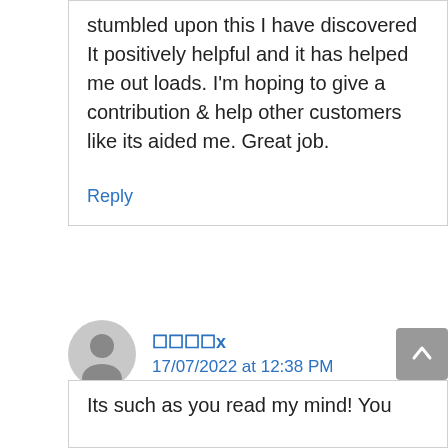stumbled upon this I have discovered It positively helpful and it has helped me out loads. I'm hoping to give a contribution & help other customers like its aided me. Great job.
Reply
□□□□x
17/07/2022 at 12:38 PM
Its such as you read my mind! You